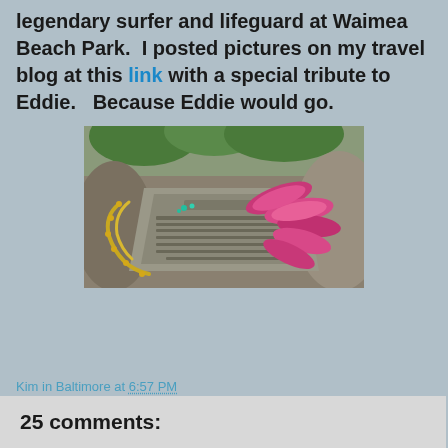legendary surfer and lifeguard at Waimea Beach Park.  I posted pictures on my travel blog at this link with a special tribute to Eddie.   Because Eddie would go.
[Figure (photo): A bronze memorial plaque embedded in rock, decorated with a gold chain lei on the left and a vibrant pink/red flower lei on the right. Green tropical foliage is visible in the background.]
Kim in Baltimore at 6:57 PM
25 comments: